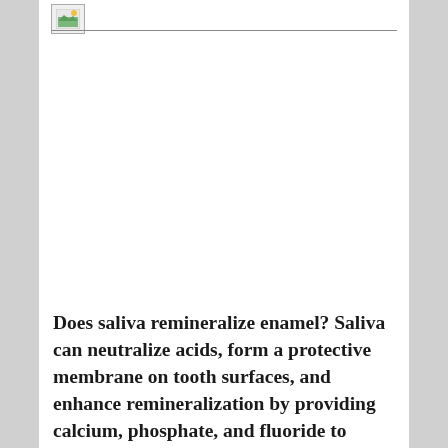[Figure (photo): Small image thumbnail icon in the top-left corner of the page]
Does saliva remineralize enamel? Saliva can neutralize acids, form a protective membrane on tooth surfaces, and enhance remineralization by providing calcium, phosphate, and fluoride to enamel and dentin.